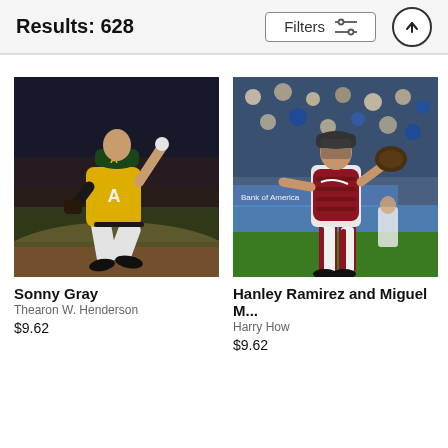Results: 628
Filters
[Figure (photo): Baseball pitcher in Oakland A's yellow uniform mid-pitch]
Sonny Gray
Thearon W. Henderson
$9.62
[Figure (photo): Baseball catcher in red gear standing on field with crowd behind]
Hanley Ramirez and Miguel M...
Harry How
$9.62